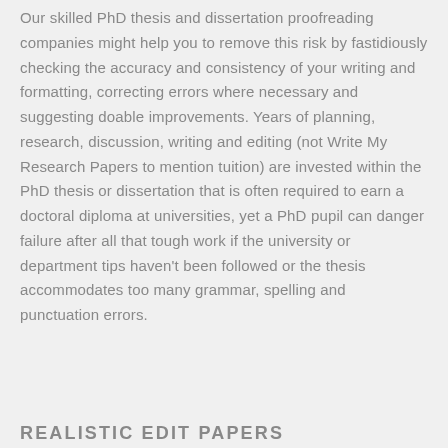Our skilled PhD thesis and dissertation proofreading companies might help you to remove this risk by fastidiously checking the accuracy and consistency of your writing and formatting, correcting errors where necessary and suggesting doable improvements. Years of planning, research, discussion, writing and editing (not Write My Research Papers to mention tuition) are invested within the PhD thesis or dissertation that is often required to earn a doctoral diploma at universities, yet a PhD pupil can danger failure after all that tough work if the university or department tips haven't been followed or the thesis accommodates too many grammar, spelling and punctuation errors.
REALISTIC EDIT PAPERS